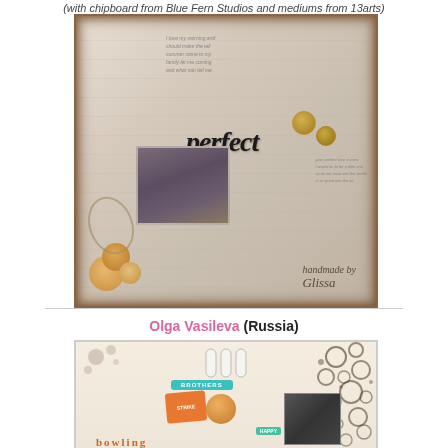(with chipboard from Blue Fern Studios and mediums from 13arts)
[Figure (photo): Scrapbook layout page with distressed white background, roses, feathers, and a central photo of two children, with the word 'perfect' as the title. Signed 'handmade by Glissa'.]
Olga Vasileva (Russia)
[Figure (photo): Scrapbook layout page with bowling theme, featuring bowling pins, a bowling ball, colorful sticker elements, circle/bubble pattern, and a black-and-white photo of a child.]